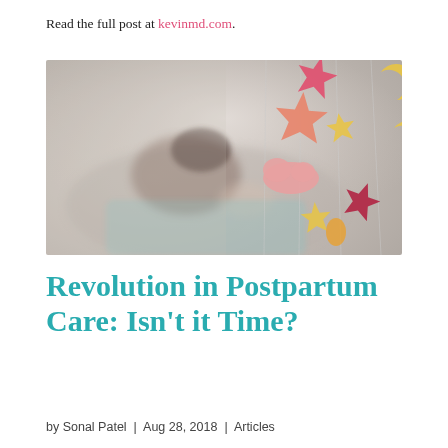Read the full post at kevinmd.com.
[Figure (photo): A blurred background shows a person lying down with a baby; in the foreground hang colorful felt mobile decorations including stars, clouds, moons, and other shapes in pink, yellow, red, and teal.]
Revolution in Postpartum Care: Isn't it Time?
by Sonal Patel | Aug 28, 2018 | Articles